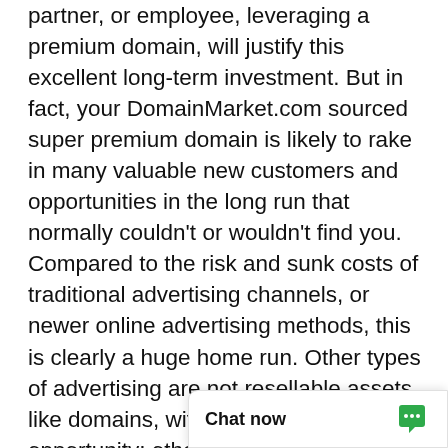partner, or employee, leveraging a premium domain, will justify this excellent long-term investment. But in fact, your DomainMarket.com sourced super premium domain is likely to rake in many valuable new customers and opportunities in the long run that normally couldn't or wouldn't find you. Compared to the risk and sunk costs of traditional advertising channels, or newer online advertising methods, this is clearly a huge home run. Other types of advertising are not resellable assets like domains, with long term investment opportunity; other advertising investments are all very risky comparatively, and are mostly wasted if you think about it.

First come, first served. Don't miss this once in a lifetime opportunity to be #1. The first person or company to secure Fa can control it forever,
[Figure (other): Chat now widget button in bottom-right corner with speech bubble icon in green]